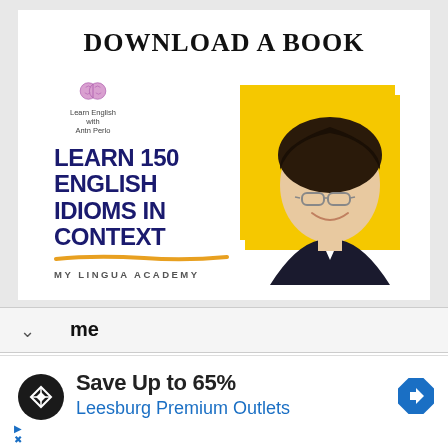DOWNLOAD A BOOK
[Figure (illustration): Book cover for 'Learn 150 English Idioms in Context' by My Lingua Academy, featuring a woman with glasses against a yellow background, with a brain logo at top.]
me
Save Up to 65%
Leesburg Premium Outlets